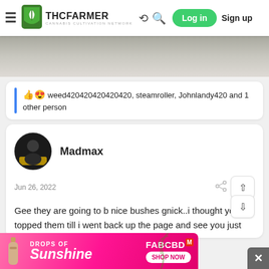THCFarmer - Cannabis Cultivation Network | Log in | Sign up
[Figure (photo): Partial view of white fabric or bedding, cropped top section]
👍😍 weed420420420420420, steamroller, Johnlandy420 and 1 other person
Madmax
Jun 26, 2022
Gee they are going to b nice bushes gnick..i thought you topped them till i went back up the page and see you just
[Figure (advertisement): DROPS OF Sunshine - FABCBD SHOP NOW ad banner in pink/magenta colors]